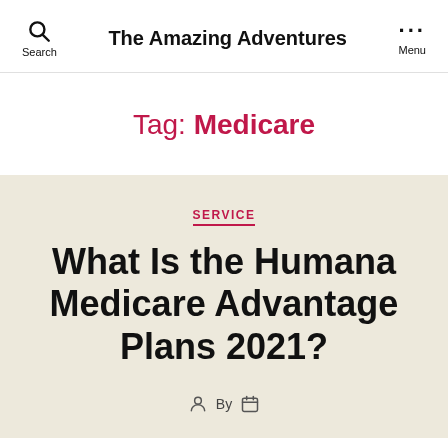The Amazing Adventures
Tag: Medicare
SERVICE
What Is the Humana Medicare Advantage Plans 2021?
By